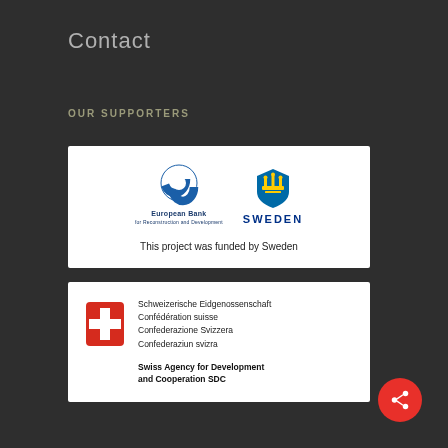Contact
OUR SUPPORTERS
[Figure (logo): European Bank for Reconstruction and Development logo and Sweden logo with text 'This project was funded by Sweden']
[Figure (logo): Swiss Confederation logo with text: Schweizerische Eidgenossenschaft, Confédération suisse, Confederazione Svizzera, Confederaziun svizra, Swiss Agency for Development and Cooperation SDC]